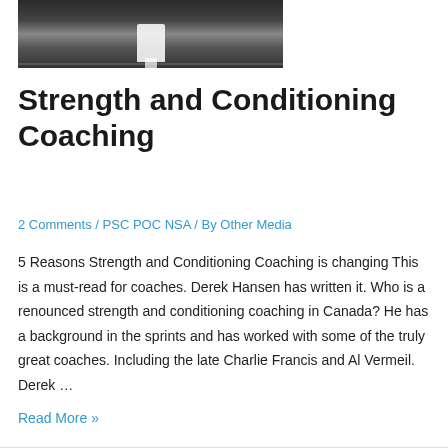[Figure (photo): Black and white photo of a person on a sports court or gym floor, likely a basketball or track setting.]
Strength and Conditioning Coaching
2 Comments / PSC POC NSA / By Other Media
5 Reasons Strength and Conditioning Coaching is changing This is a must-read for coaches. Derek Hansen has written it. Who is a renounced strength and conditioning coaching in Canada? He has a background in the sprints and has worked with some of the truly great coaches. Including the late Charlie Francis and Al Vermeil. Derek …
Read More »